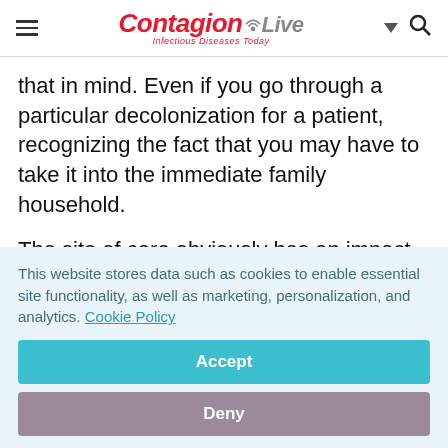ContagionLive — Infectious Diseases Today
that in mind. Even if you go through a particular decolonization for a patient, recognizing the fact that you may have to take it into the immediate family household.
The site of care obviously has an impact on resources used and cost in treating ABSSSI. A
This website stores data such as cookies to enable essential site functionality, as well as marketing, personalization, and analytics. Cookie Policy
Accept
Deny